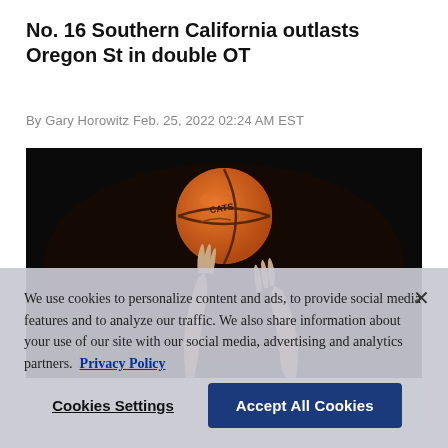No. 16 Southern California outlasts Oregon St in double OT
By Gary Horowitz Feb. 25, 2022 02:24 AM EST
[Figure (photo): Basketball spinning on a player's finger against a dark background, with hands reaching up from below]
We use cookies to personalize content and ads, to provide social media features and to analyze our traffic. We also share information about your use of our site with our social media, advertising and analytics partners. Privacy Policy
Cookies Settings   Accept All Cookies